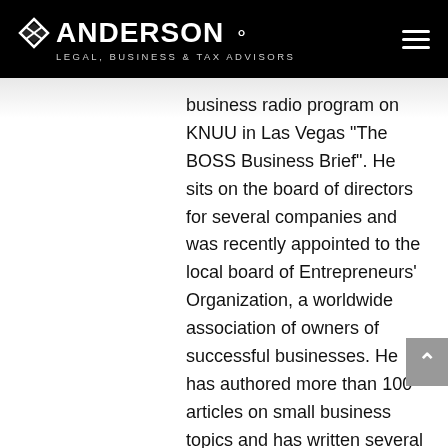ANDERSON LEGAL, BUSINESS & TAX ADVISORS
business radio program on KNUU in Las Vegas "The BOSS Business Brief". He sits on the board of directors for several companies and was recently appointed to the local board of Entrepreneurs' Organization, a worldwide association of owners of successful businesses. He has authored more than 100 articles on small business topics and has written several books on good